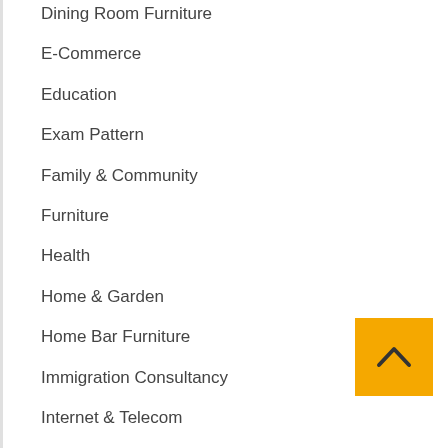Dining Room Furniture
E-Commerce
Education
Exam Pattern
Family & Community
Furniture
Health
Home & Garden
Home Bar Furniture
Immigration Consultancy
Internet & Telecom
Living Room Furniture
NCERT Books
NCERT Class 1 Books